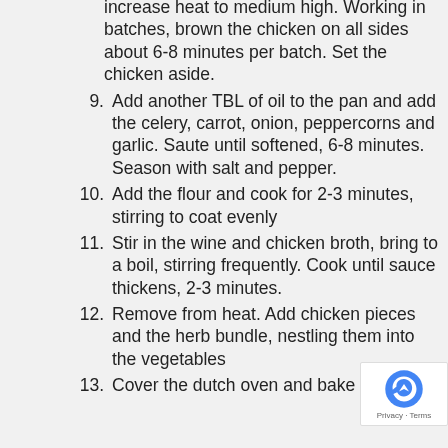increase heat to medium high. Working in batches, brown the chicken on all sides about 6-8 minutes per batch. Set the chicken aside.
9. Add another TBL of oil to the pan and add the celery, carrot, onion, peppercorns and garlic. Saute until softened, 6-8 minutes. Season with salt and pepper.
10. Add the flour and cook for 2-3 minutes, stirring to coat evenly
11. Stir in the wine and chicken broth, bring to a boil, stirring frequently. Cook until sauce thickens, 2-3 minutes.
12. Remove from heat. Add chicken pieces and the herb bundle, nestling them into the vegetables
13. Cover the dutch oven and bake in the